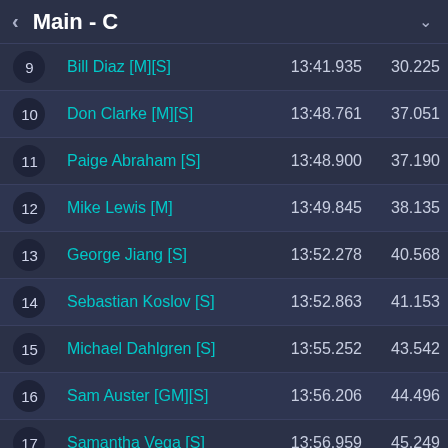Main - C
| Pos | Name | Time | Gap |
| --- | --- | --- | --- |
| 9 | Bill Diaz [M][S] | 13:41.935 | 30.225 |
| 10 | Don Clarke [M][S] | 13:48.761 | 37.051 |
| 11 | Paige Abraham [S] | 13:48.900 | 37.190 |
| 12 | Mike Lewis [M] | 13:49.845 | 38.135 |
| 13 | George Jiang [S] | 13:52.278 | 40.568 |
| 14 | Sebastian Koslov [S] | 13:52.863 | 41.153 |
| 15 | Michael Dahlgren [S] | 13:55.252 | 43.542 |
| 16 | Sam Auster [GM][S] | 13:56.206 | 44.496 |
| 17 | Samantha Vega [S] | 13:56.959 | 45.249 |
| 18 | RC Flock [S] | 13:58.224 | 46.514 |
| 19 | Bill Lin [S] | 14:01.527 | 49.817 |